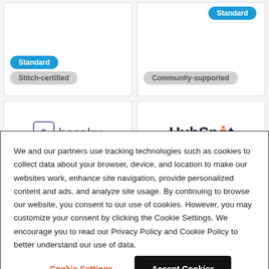[Figure (other): Two product cards at the top. Left card shows Standard (blue badge) and Stitch-certified (gray badge). Right card shows Standard (blue badge) and Community-supported (gray badge).]
[Figure (logo): Heroku logo with purple outlined box icon and text 'heroku']
[Figure (logo): HubSpot logo with stylized orange dot on letter 'o']
We and our partners use tracking technologies such as cookies to collect data about your browser, device, and location to make our websites work, enhance site navigation, provide personalized content and ads, and analyze site usage. By continuing to browse our website, you consent to our use of cookies. However, you may customize your consent by clicking the Cookie Settings. We encourage you to read our Privacy Policy and Cookie Policy to better understand our use of data.
Cookie Settings
Accept Cookies